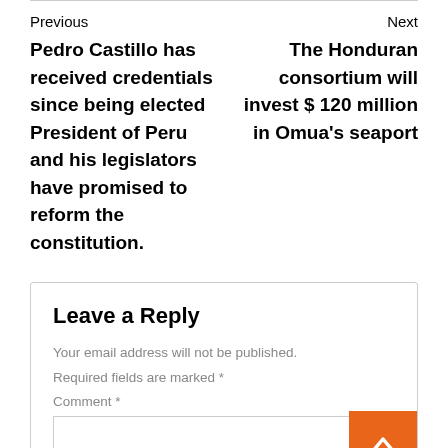Previous
Pedro Castillo has received credentials since being elected President of Peru and his legislators have promised to reform the constitution.
Next
The Honduran consortium will invest $ 120 million in Omua's seaport
Leave a Reply
Your email address will not be published.
Required fields are marked *
Comment *